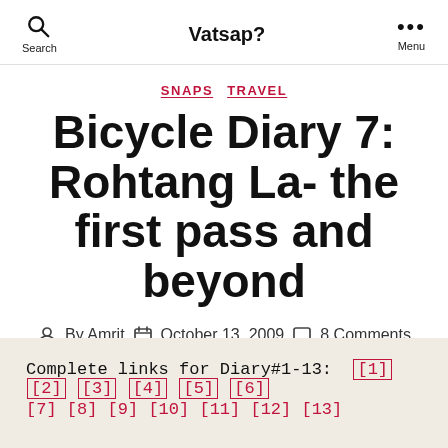Search   Vatsap?   Menu
SNAPS   TRAVEL
Bicycle Diary 7: Rohtang La- the first pass and beyond
By Amrit   October 13, 2009   8 Comments
Complete links for Diary#1-13: [1] [2] [3] [4] [5] [6]